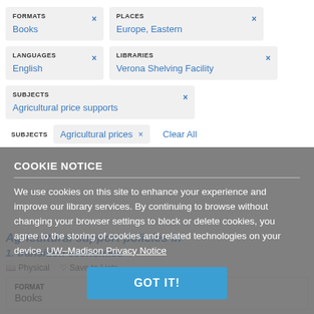FORMATS Books ×
PLACES Europe, Eastern ×
LANGUAGES English ×
LIBRARIES Verona Shelving Facility ×
SUBJECTS Agricultural price supports ×
SUBJECTS Agricultural prices × Clear All
Agricultural support policies in transition economies
Physical  Save to Lists
| FORMAT |
| --- |
| Books |
COOKIE NOTICE
We use cookies on this site to enhance your experience and improve our library services. By continuing to browse without changing your browser settings to block or delete cookies, you agree to the storing of cookies and related technologies on your device. UW–Madison Privacy Notice
GOT IT!